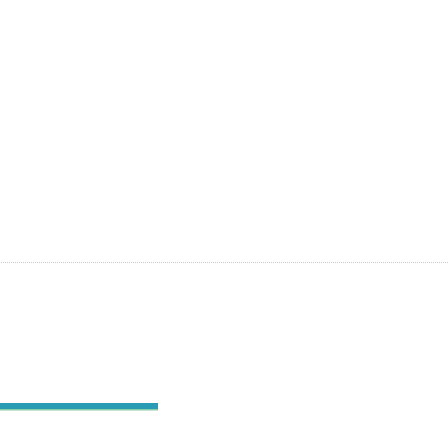The 5K race will be traversing through se... of the city.
Temporary road closures are expected on... Avenue, along with other streets in the no... expect delays.
If possible, vehicles should avoid the area... cognisant of the runners, who will be usin...
A map of the racecourse and further infor... at http://www.glowcorporatecup.org/
Sponsored Post: Register now... Corporate Cup
posted by Lisa Ace in Sponsored Post, advertise... batavia.
[Figure (logo): Genesee Livingston GLOW Corporate Cup logo with teal runner silhouette and blue GLOW text letters]